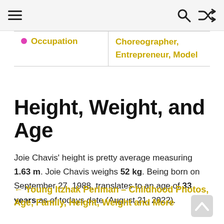Navigation bar with hamburger menu, search icon, and shuffle icon
| Occupation |  |
| --- | --- |
| Occupation | Choreographer, Entrepreneur, Model |
Height, Weight, and Age
Joie Chavis' height is pretty average measuring 1.63 m. Joie Chavis weighs 52 kg. Being born on September 27, 1988, translates to an age of 33 years as of todays date (August 21, 2022).
← Young Itzhak Perlman – Childhood Photos, Age, Family, Height, Weight and More